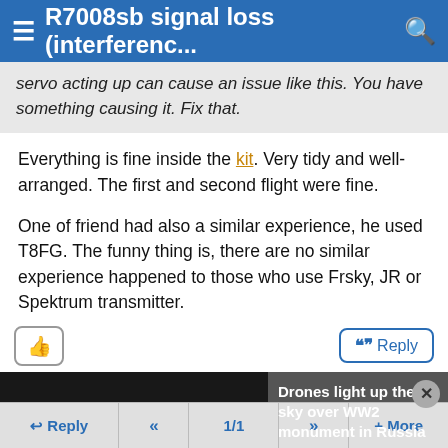R7008sb signal loss (interferenc... [search]
servo acting up can cause an issue like this. You have something causing it. Fix that.
Everything is fine inside the kit. Very tidy and well-arranged. The first and second flight were fine.
One of friend had also a similar experience, he used T8FG. The funny thing is, there are no similar experience happened to those who use Frsky, JR or Spektrum transmitter.
[Figure (screenshot): Media player error overlay showing 'The media could not be loaded, either because the server or network failed or because the format is not supported.' with a news thumbnail showing 'Drones light up the sky over WW2 monument in Russia']
Reply | << | 1/1 | >> | + More